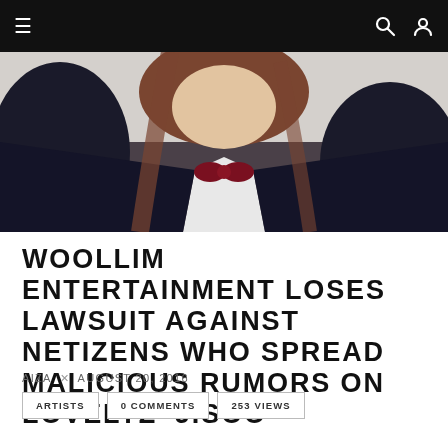Navigation bar with menu, search, and user icons
[Figure (photo): Hero image of a person wearing a dark school-style uniform jacket with white collar and dark red bow tie, with brown hair, shot from chin down]
WOOLLIM ENTERTAINMENT LOSES LAWSUIT AGAINST NETIZENS WHO SPREAD MALICIOUS RUMORS ON LOVELYZ' JISOO
AIZA x AUGUST 20, 2016
ARTISTS
0 COMMENTS
253 VIEWS